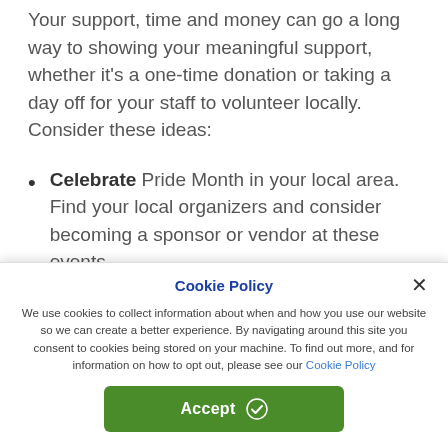Your support, time and money can go a long way to showing your meaningful support, whether it's a one-time donation or taking a day off for your staff to volunteer locally. Consider these ideas:
Celebrate Pride Month in your local area. Find your local organizers and consider becoming a sponsor or vendor at these events.
Donate to GLAAD* and the Human Rights Campaign*; these organizations strive to educate the public about LGBTQ+ issues and...
Cookie Policy
We use cookies to collect information about when and how you use our website so we can create a better experience. By navigating around this site you consent to cookies being stored on your machine. To find out more, and for information on how to opt out, please see our Cookie Policy